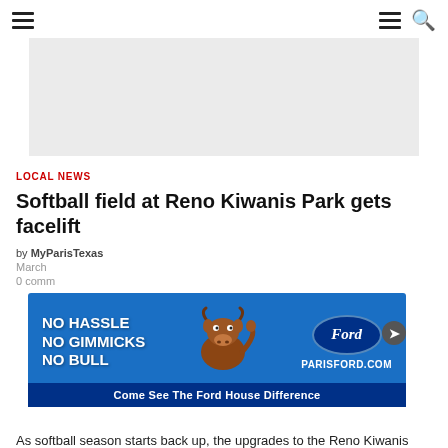Navigation header with hamburger menus and search icon
[Figure (other): Gray advertisement banner placeholder]
LOCAL NEWS
Softball field at Reno Kiwanis Park gets facelift
by MyParisTexas
March
0 comm
[Figure (photo): Ford dealership advertisement: NO HASSLE NO GIMMICKS NO BULL with cartoon bull mascot and Ford oval logo, PARISFORD.COM, Come See The Ford House Difference]
As softball season starts back up, the upgrades to the Reno Kiwanis Park softball field couldn't come at a better time.